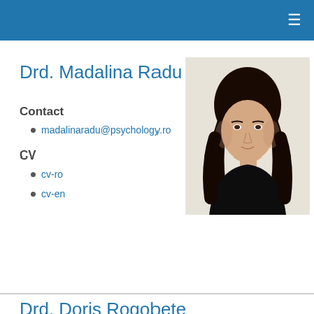≡
Drd. Madalina Radu
Contact
madalinaradu@psychology.ro
CV
cv-ro
cv-en
[Figure (photo): Portrait photo of Drd. Madalina Radu, a young woman with long dark hair, wearing dark clothing, against a light background.]
Drd. Doris Rogobete
Doris Rogobete urmează studiile de doctorat în cadrul Școlii Doctorale Psihologie Cognitivă Aplicată la Universitatea Babes-
[Figure (photo): Portrait photo of Drd. Doris Rogobete, a woman photographed outdoors with sky in the background.]